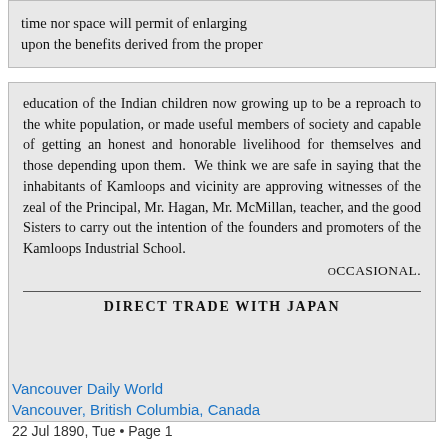[Figure (screenshot): Top clipped newspaper snippet reading: 'time nor space will permit of enlarging upon the benefits derived from the proper']
education of the Indian children now growing up to be a reproach to the white population, or made useful members of society and capable of getting an honest and honorable livelihood for themselves and those depending upon them. We think we are safe in saying that the inhabitants of Kamloops and vicinity are approving witnesses of the zeal of the Principal, Mr. Hagan, Mr. McMillan, teacher, and the good Sisters to carry out the intention of the founders and promoters of the Kamloops Industrial School. OCCASIONAL.
DIRECT TRADE WITH JAPAN
Vancouver Daily World
Vancouver, British Columbia, Canada
22 Jul 1890, Tue • Page 1